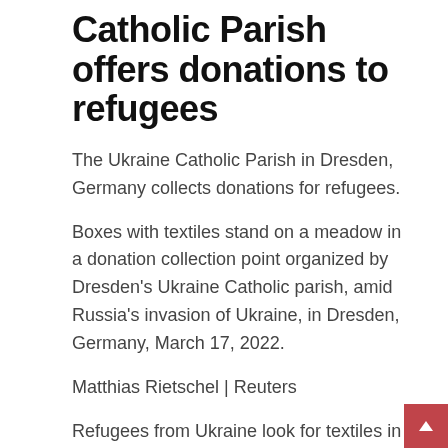Catholic Parish offers donations to refugees
The Ukraine Catholic Parish in Dresden, Germany collects donations for refugees.
Boxes with textiles stand on a meadow in a donation collection point organized by Dresden's Ukraine Catholic parish, amid Russia's invasion of Ukraine, in Dresden, Germany, March 17, 2022.
Matthias Rietschel | Reuters
Refugees from Ukraine look for textiles in a donation collection point organised by Dresden's Ukraine Catholic parish, amid Russia's invasion of Ukraine, in Dresden, Germany, March 17, 2022.